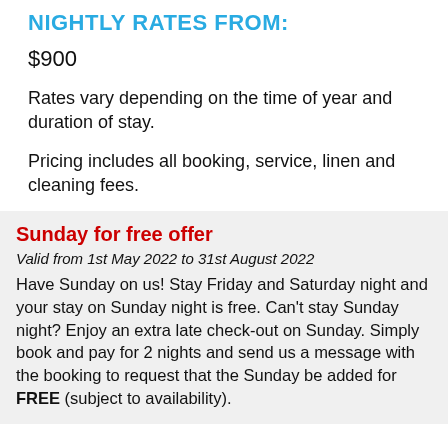NIGHTLY RATES FROM:
$900
Rates vary depending on the time of year and duration of stay.
Pricing includes all booking, service, linen and cleaning fees.
Sunday for free offer
Valid from 1st May 2022 to 31st August 2022
Have Sunday on us! Stay Friday and Saturday night and your stay on Sunday night is free. Can't stay Sunday night? Enjoy an extra late check-out on Sunday. Simply book and pay for 2 nights and send us a message with the booking to request that the Sunday be added for FREE (subject to availability).